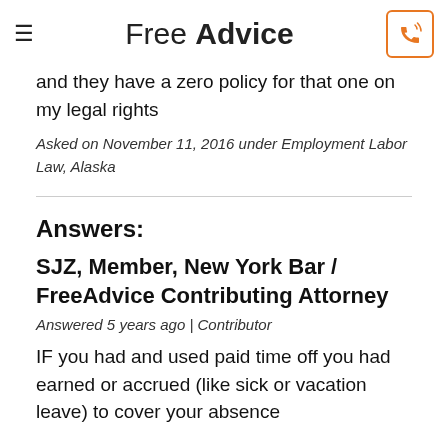Free Advice
and they have a zero policy for that one on my legal rights
Asked on November 11, 2016 under Employment Labor Law, Alaska
Answers:
SJZ, Member, New York Bar / FreeAdvice Contributing Attorney
Answered 5 years ago | Contributor
IF you had and used paid time off you had earned or accrued (like sick or vacation leave) to cover your absence